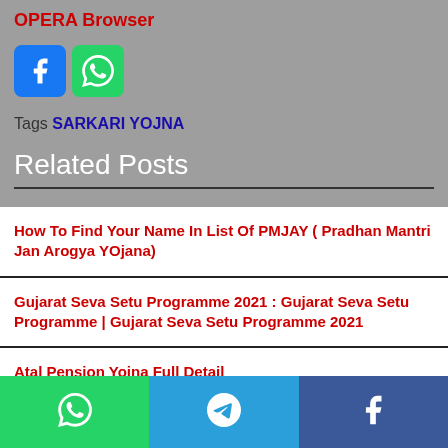OPERA Browser
[Figure (other): Facebook and WhatsApp share icons]
Tags SARKARI YOJNA
Related Posts
How To Find Your Name In List Of PMJAY ( Pradhan Mantri Jan Arogya YOjana)
Gujarat Seva Setu Programme 2021 : Gujarat Seva Setu Programme | Gujarat Seva Setu Programme 2021
Atal Pension Yojna Full Detail
[Figure (other): Bottom share bar with WhatsApp, Telegram, and Facebook icons]